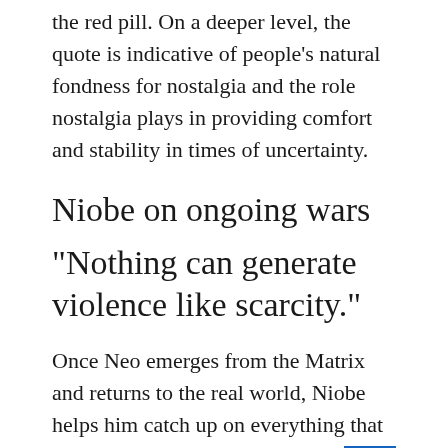the red pill. On a deeper level, the quote is indicative of people's natural fondness for nostalgia and the role nostalgia plays in providing comfort and stability in times of uncertainty.
Niobe on ongoing wars
“Nothing can generate violence like scarcity.”
Once Neo emerges from the Matrix and returns to the real world, Niobe helps him catch up on everything that has been lost in the last 60 years. As part of this, he explains that some of the machines have turned again...